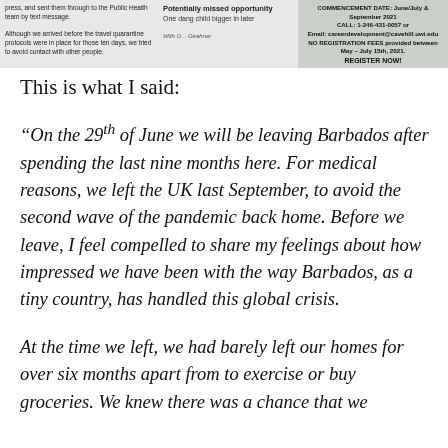[Figure (screenshot): Top strip showing partial newspaper/web content with three sections: left column with small text about Public Health team and quarantine protocols, middle section with 'Potentially missed opportunity' heading and subtext, right section with event advertisement details including registration information.]
This is what I said:
“On the 29th of June we will be leaving Barbados after spending the last nine months here. For medical reasons, we left the UK last September, to avoid the second wave of the pandemic back home. Before we leave, I feel compelled to share my feelings about how impressed we have been with the way Barbados, as a tiny country, has handled this global crisis.
At the time we left, we had barely left our homes for over six months apart from to exercise or buy groceries. We knew there was a chance that we